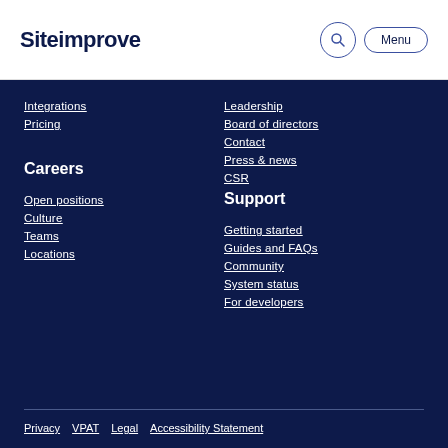Siteimprove
Integrations
Pricing
Leadership
Board of directors
Contact
Press & news
CSR
Careers
Support
Open positions
Culture
Teams
Locations
Getting started
Guides and FAQs
Community
System status
For developers
Privacy  VPAT  Legal  Accessibility Statement